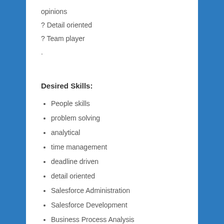opinions
? Detail oriented
? Team player
.
Desired Skills:
People skills
problem solving
analytical
time management
deadline driven
detail oriented
Salesforce Administration
Salesforce Development
Business Process Analysis